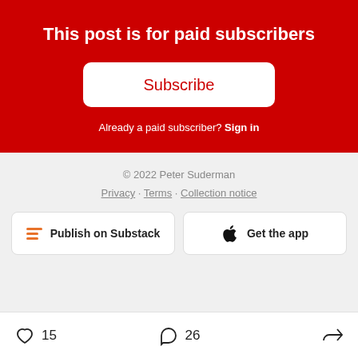This post is for paid subscribers
Subscribe
Already a paid subscriber? Sign in
© 2022 Peter Suderman
Privacy · Terms · Collection notice
Publish on Substack
Get the app
15  26